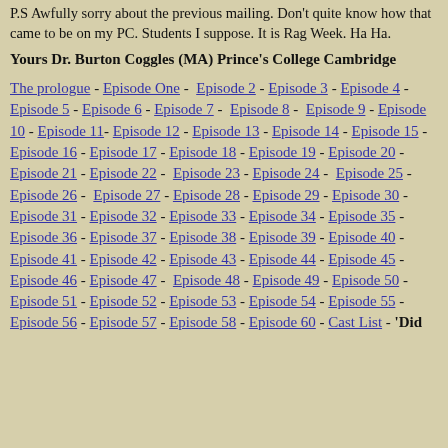P.S Awfully sorry about the previous mailing. Don't quite know how that came to be on my PC. Students I suppose. It is Rag Week. Ha Ha.
Yours Dr. Burton Coggles (MA) Prince's College Cambridge
The prologue - Episode One - Episode 2 - Episode 3 - Episode 4 - Episode 5 - Episode 6 - Episode 7 - Episode 8 - Episode 9 - Episode 10 - Episode 11 - Episode 12 - Episode 13 - Episode 14 - Episode 15 - Episode 16 - Episode 17 - Episode 18 - Episode 19 - Episode 20 - Episode 21 - Episode 22 - Episode 23 - Episode 24 - Episode 25 - Episode 26 - Episode 27 - Episode 28 - Episode 29 - Episode 30 - Episode 31 - Episode 32 - Episode 33 - Episode 34 - Episode 35 - Episode 36 - Episode 37 - Episode 38 - Episode 39 - Episode 40 - Episode 41 - Episode 42 - Episode 43 - Episode 44 - Episode 45 - Episode 46 - Episode 47 - Episode 48 - Episode 49 - Episode 50 - Episode 51 - Episode 52 - Episode 53 - Episode 54 - Episode 55 - Episode 56 - Episode 57 - Episode 58 - Episode 60 - Cast List - 'Did